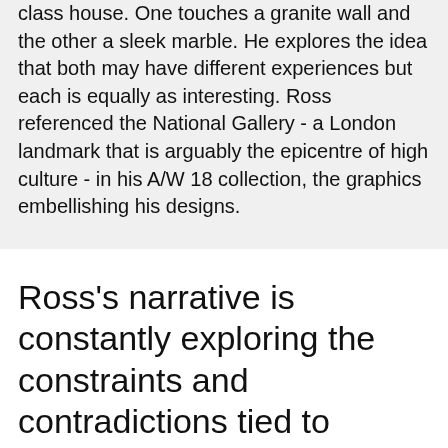class house. One touches a granite wall and the other a sleek marble. He explores the idea that both may have different experiences but each is equally as interesting. Ross referenced the National Gallery - a London landmark that is arguably the epicentre of high culture - in his A/W 18 collection, the graphics embellishing his designs.
Ross's narrative is constantly exploring the constraints and contradictions tied to Britishness.